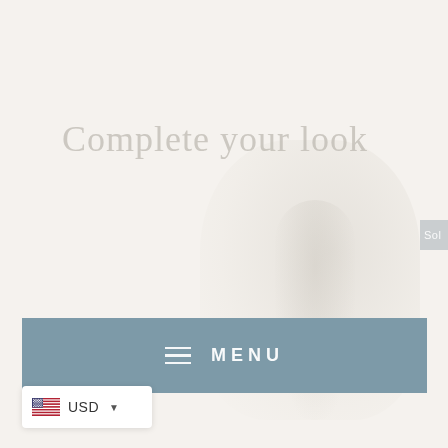[Figure (photo): Faint background image of a person/model on a light beige background, very washed out]
Complete your look
[Figure (screenshot): Partial button labeled 'Sol...' in muted blue-grey on the right edge]
≡ MENU
USD ▾